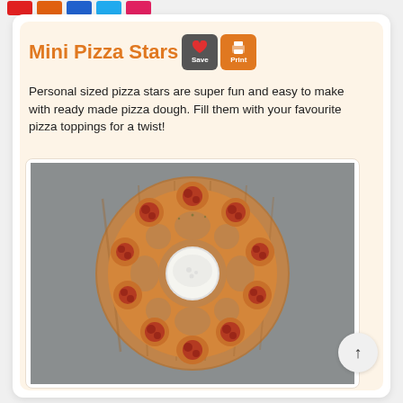Mini Pizza Stars
Personal sized pizza stars are super fun and easy to make with ready made pizza dough. Fill them with your favourite pizza toppings for a twist!
[Figure (photo): Overhead photo of mini pizza stars arranged in a ring on a wooden serving board, filled with pepperoni and tomato sauce, with a small bowl of white dipping sauce in the center, on a grey stone background.]